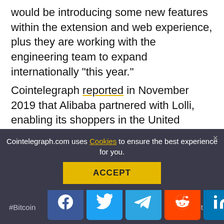would be introducing some new features within the extension and web experience, plus they are working with the engineering team to expand internationally “this year.”
Cointelegraph reported in November 2019 that Alibaba partnered with Lolli, enabling its shoppers in the United States to earn 5% back in Bitcoin. However, Alibaba denied any partnership with the rewards app.
Days later, Lolli’s CEO refuted Alibaba’s denial of partnership and maintained a relationship since May 2019 through Ali...
[Figure (infographic): Social media share buttons: Facebook, Twitter, Telegram, Reddit, LinkedIn, WhatsApp, Copy, Scroll-up]
Cointelegraph.com uses Cookies to ensure the best experience for you.
ACCEPT
#Bitcoin  #Cry...  Adoption